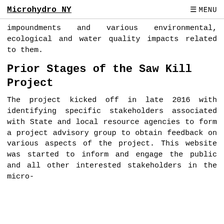Microhydro NY   ☰ MENU
impoundments and various environmental, ecological and water quality impacts related to them.
Prior Stages of the Saw Kill Project
The project kicked off in late 2016 with identifying specific stakeholders associated with State and local resource agencies to form a project advisory group to obtain feedback on various aspects of the project. This website was started to inform and engage the public and all other interested stakeholders in the micro-